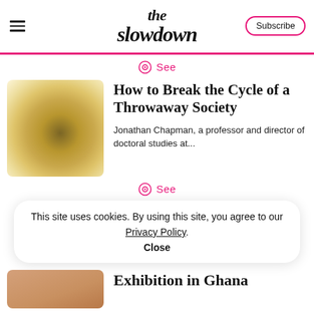the slowdown
See
How to Break the Cycle of a Throwaway Society
Jonathan Chapman, a professor and director of doctoral studies at...
See
This site uses cookies. By using this site, you agree to our Privacy Policy. Close
Exhibition in Ghana